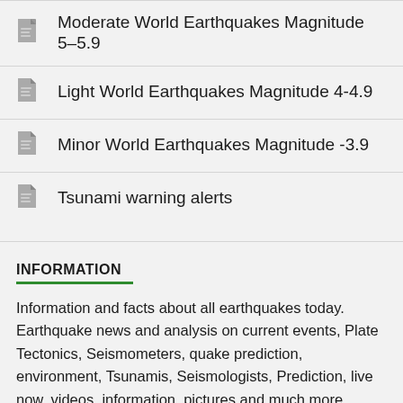Moderate World Earthquakes Magnitude 5–5.9
Light World Earthquakes Magnitude 4-4.9
Minor World Earthquakes Magnitude -3.9
Tsunami warning alerts
INFORMATION
Information and facts about all earthquakes today. Earthquake news and analysis on current events, Plate Tectonics, Seismometers, quake prediction, environment, Tsunamis, Seismologists, Prediction, live now, videos, information, pictures and much more. Current and latest world earthquakes breaking news, activity and articles